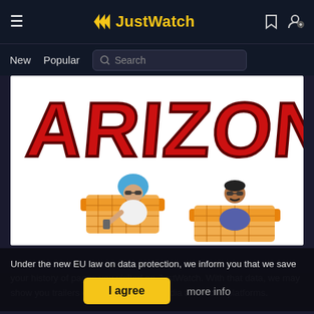JustWatch
New   Popular   Search
[Figure (screenshot): Cropped movie poster showing large red stylized text 'ARIZONA' at top, with two characters lounging on orange chairs at the bottom — a woman with a blue head wrap and sunglasses, and a man with a mustache and sunglasses]
Under the new EU law on data protection, we inform you that we save your history of pages you visited on JustWatch. With that data, we may show you trailers on external social media and video platforms.
I agree   more info